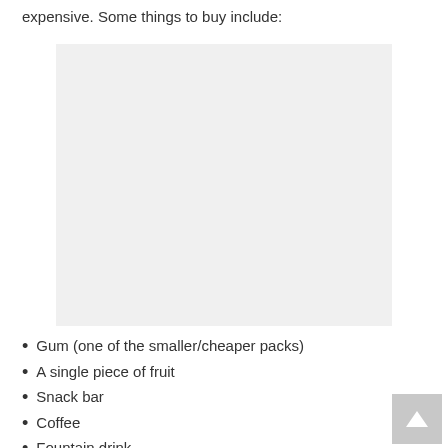expensive. Some things to buy include:
[Figure (photo): A light gray placeholder image rectangle]
Gum (one of the smaller/cheaper packs)
A single piece of fruit
Snack bar
Coffee
Fountain drink
Individual bags of chips or pretzels